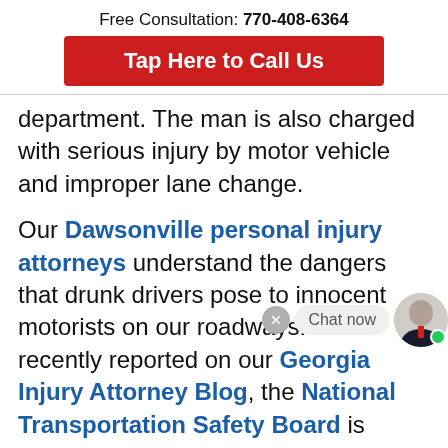Free Consultation: 770-408-6364
Tap Here to Call Us
department. The man is also charged with serious injury by motor vehicle and improper lane change.
Our Dawsonville personal injury attorneys understand the dangers that drunk drivers pose to innocent motorists on our roadways. As we recently reported on our Georgia Injury Attorney Blog, the National Transportation Safety Board is targeting these drivers on their "most wanted" (NTSB) list. This list is made up of motorists most at risk of causing or being victimized by a traffic accident. The